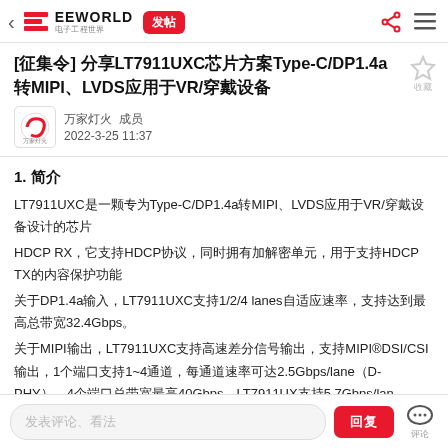EEWORLD 电子工程世界 | 发帖 | 分享 | 菜单
[征集令] 分享LT7911UXC芯片方案Type-C/DP1.4a转MIPI、LVDS应用于VR/穿戴设备
万家灯火 成员 2022-3-25 11:37
1. 简介
LT7911UXC是一颗专为Type-C/DP1.4a转MIPI、LVDS应用于VR/穿戴设备设计的芯片
HDCP RX，它支持HDCP协议，同时拥有加解密单元，用于支持HDCP TX的内容保护功能
关于DP1.4a输入，LT7911UXC支持1/2/4 lanes自适应速率，支持达到最高总带宽32.4Gbps。
关于MIPI输出，LT7911UXC支持高速差分信号输出，支持MIPI®DSI/CSI输出，1个端口支持1~4通道，每通道速率可达2.5Gbps/lane（D-PHY），4个端口总带宽最高40Gbps，LT7911UX支持5.7Gbps/lan